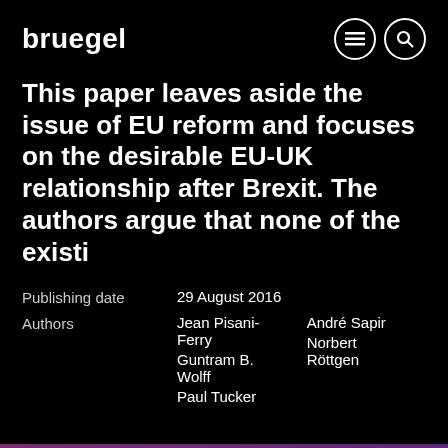bruegel
This paper leaves aside the issue of EU reform and focuses on the desirable EU-UK relationship after Brexit. The authors argue that none of the existi
Publishing date: 29 August 2016
Authors: Jean Pisani-Ferry, André Sapir, Guntram B. Wolff, Norbert Röttgen, Paul Tucker
We use cookies on this site to enhance your user experience
By clicking the Accept button, you agree to us doing so. More info
ACCEPT
NO, THANKS